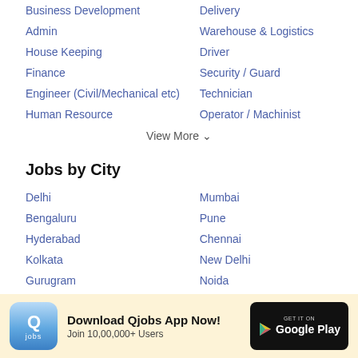Business Development
Delivery
Admin
Warehouse & Logistics
House Keeping
Driver
Finance
Security / Guard
Engineer (Civil/Mechanical etc)
Technician
Human Resource
Operator / Machinist
View More ∨
Jobs by City
Delhi
Mumbai
Bengaluru
Pune
Hyderabad
Chennai
Kolkata
New Delhi
Gurugram
Noida
Download Qjobs App Now! Join 10,00,000+ Users